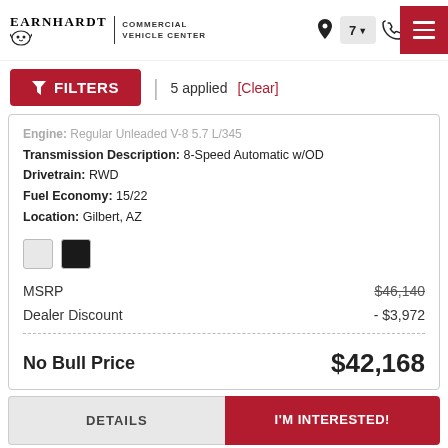Earnhardt Commercial Vehicle Center
FILTERS | 5 applied [Clear]
Engine: Regular Unleaded V-8 5.7 L/345
Transmission Description: 8-Speed Automatic w/OD
Drivetrain: RWD
Fuel Economy: 15/22
Location: Gilbert, AZ
MSRP $46,140
Dealer Discount - $3,972
No Bull Price $42,168
DETAILS | I'M INTERESTED!